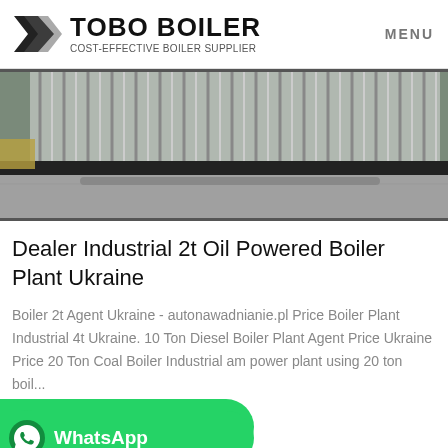TOBO BOILER COST-EFFECTIVE BOILER SUPPLIER | MENU
[Figure (photo): Industrial building exterior with corrugated metal wall and construction materials on concrete ground]
Dealer Industrial 2t Oil Powered Boiler Plant Ukraine
Boiler 2t Agent Ukraine - autonawadnianie.pl Price Boiler Plant Industrial 4t Ukraine. 10 Ton Diesel Boiler Plant Agent Price Ukraine Price 20 Ton Coal Boiler Industrial am power plant using 20 ton boil...